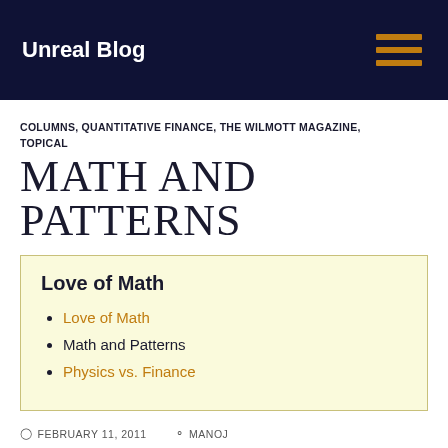Unreal Blog
COLUMNS, QUANTITATIVE FINANCE, THE WILMOTT MAGAZINE, TOPICAL
MATH AND PATTERNS
Love of Math
Love of Math
Math and Patterns
Physics vs. Finance
FEBRUARY 11, 2011   MANOJ